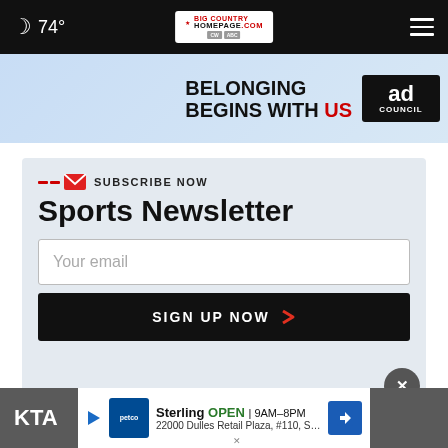74° Big Country Homepage - Navigation bar with weather and hamburger menu
[Figure (screenshot): Ad banner: Belonging Begins With US - Ad Council]
SUBSCRIBE NOW
Sports Newsletter
Your email
SIGN UP NOW
[Figure (screenshot): Ad overlay: Petco - Sterling OPEN 9AM-8PM 22000 Dulles Retail Plaza, #110, Sterling]
KTA